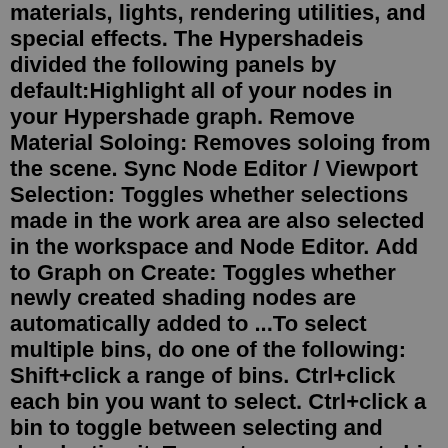materials, lights, rendering utilities, and special effects. The Hypershade is divided the following panels by default: Highlight all of your nodes in your Hypershade graph. Remove Material Soloing: Removes soloing from the scene. Sync Node Editor / Viewport Selection: Toggles whether selections made in the work area are also selected in the workspace and Node Editor. Add to Graph on Create: Toggles whether newly created shading nodes are automatically added to ...To select multiple bins, do one of the following: Shift+click a range of bins. Ctrl+click each bin you want to select. Ctrl+click a bin to toggle between selecting and deselecting it. To create a new empty bin In the Hypershade Binstab, click the Create Empty bin button. The New Bin Name window appears. Type the new name, then click OK. These lessons include using the Displacement node to create displacement-mapping effects, using the Layered Texture node to create complex multi-layered textures, using the Optical FX node to add realistic lens flares to Maya lights, using the different